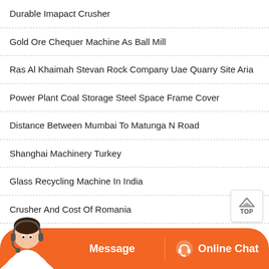Durable Imapact Crusher
Gold Ore Chequer Machine As Ball Mill
Ras Al Khaimah Stevan Rock Company Uae Quarry Site Aria
Power Plant Coal Storage Steel Space Frame Cover
Distance Between Mumbai To Matunga N Road
Shanghai Machinery Turkey
Glass Recycling Machine In India
Crusher And Cost Of Romania
Cost Of Sand Washing Plant
Silian Mining Machine With Iso Certifimon